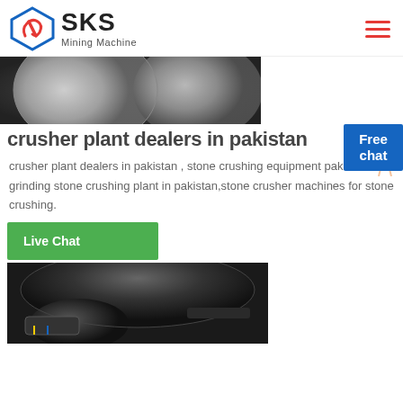SKS Mining Machine
[Figure (photo): Close-up photo of large crusher mill balls/spheres inside a grinding mill, grey and white tones]
crusher plant dealers in pakistan
crusher plant dealers in pakistan , stone crushing equipment pakistan grinding stone crushing plant in pakistan,stone crusher machines for stone crushing.
Live Chat
[Figure (photo): Close-up photo of a dark grey metal crusher/mill component, industrial machinery part]